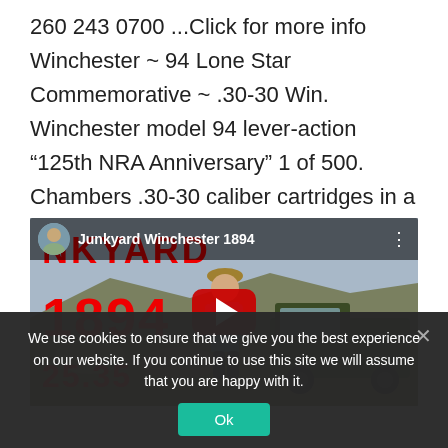260 243 0700 ...Click for more info Winchester ~ 94 Lone Star Commemorative ~ .30-30 Win. Winchester model 94 lever-action “125th NRA Anniversary” 1 of 500. Chambers .30-30 caliber cartridges in a 20" barrel with an excellent bore.
[Figure (screenshot): YouTube video thumbnail for 'Junkyard Winchester 1894' showing a man in a cowboy hat standing in front of an old rusted truck in a dry outdoor landscape. Red text '1894' and partial 'NKYAR D' visible. YouTube play button centered.]
We use cookies to ensure that we give you the best experience on our website. If you continue to use this site we will assume that you are happy with it.